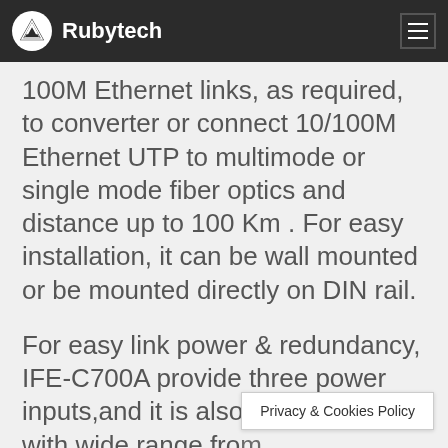Rubytech
100M Ethernet links, as required, to converter or connect 10/100M Ethernet UTP to multimode or single mode fiber optics and distance up to 100 Km . For easy installation, it can be wall mounted or be mounted directly on DIN rail.
For easy link power & redundancy, IFE-C700A provide three power inputs,and it is also compatible with wide range from DC10V-12V...dual
Privacy & Cookies Policy